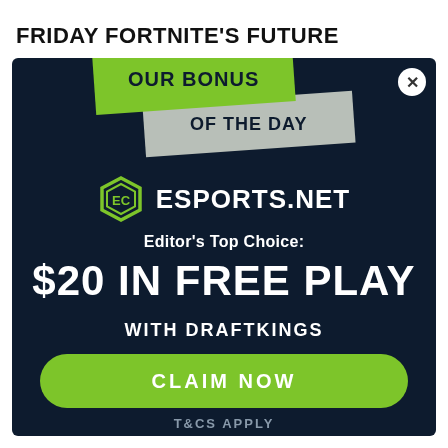FRIDAY FORTNITE'S FUTURE
[Figure (infographic): Esports.net bonus of the day modal advertisement with green and gray ribbon banners, Esports.net logo, $20 in free play with DraftKings offer, green Claim Now button, and T&Cs Apply disclaimer]
OUR BONUS OF THE DAY
ESPORTS.NET
Editor's Top Choice:
$20 IN FREE PLAY
WITH DRAFTKINGS
CLAIM NOW
T&CS APPLY